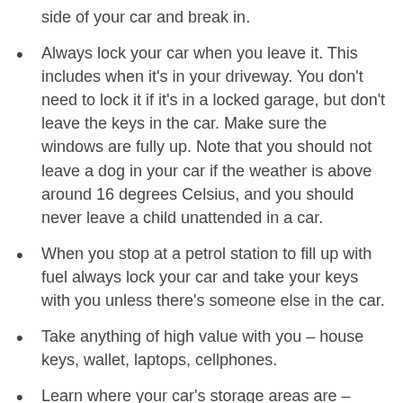side of your car and break in.
Always lock your car when you leave it. This includes when it’s in your driveway. You don’t need to lock it if it’s in a locked garage, but don’t leave the keys in the car. Make sure the windows are fully up. Note that you should not leave a dog in your car if the weather is above around 16 degrees Celsius, and you should never leave a child unattended in a car.
When you stop at a petrol station to fill up with fuel always lock your car and take your keys with you unless there’s someone else in the car.
Take anything of high value with you – house keys, wallet, laptops, cellphones.
Learn where your car’s storage areas are – some cars have storage trays under the front